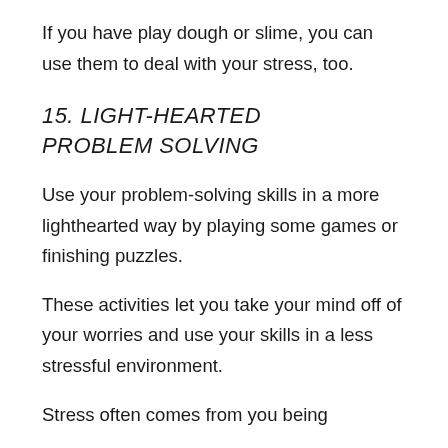If you have play dough or slime, you can use them to deal with your stress, too.
15. LIGHT-HEARTED PROBLEM SOLVING
Use your problem-solving skills in a more lighthearted way by playing some games or finishing puzzles.
These activities let you take your mind off of your worries and use your skills in a less stressful environment.
Stress often comes from you being